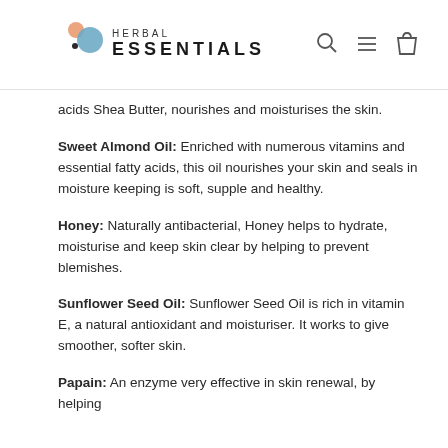HERBAL ESSENTIALS
acids Shea Butter, nourishes and moisturises the skin.
Sweet Almond Oil: Enriched with numerous vitamins and essential fatty acids, this oil nourishes your skin and seals in moisture keeping is soft, supple and healthy.
Honey: Naturally antibacterial, Honey helps to hydrate, moisturise and keep skin clear by helping to prevent blemishes.
Sunflower Seed Oil: Sunflower Seed Oil is rich in vitamin E, a natural antioxidant and moisturiser. It works to give smoother, softer skin.
Papain: An enzyme very effective in skin renewal, by helping